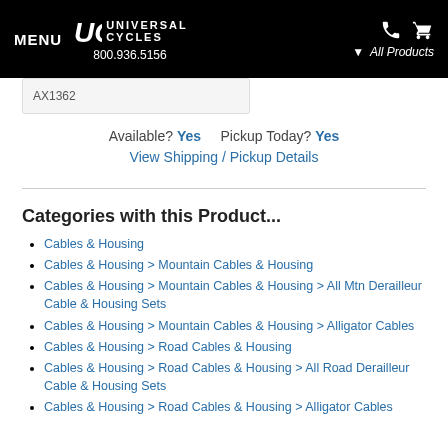MENU | UC Universal Cycles | 800.936.5156 | All Products
AX1362
Available? Yes   Pickup Today? Yes
View Shipping / Pickup Details
Categories with this Product...
Cables & Housing
Cables & Housing > Mountain Cables & Housing
Cables & Housing > Mountain Cables & Housing > All Mtn Derailleur Cable & Housing Sets
Cables & Housing > Mountain Cables & Housing > Alligator Cables
Cables & Housing > Road Cables & Housing
Cables & Housing > Road Cables & Housing > All Road Derailleur Cable & Housing Sets
Cables & Housing > Road Cables & Housing > Alligator Cables